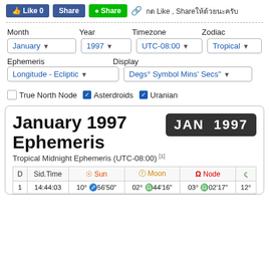[Figure (screenshot): Social media share buttons: Like 0 (Facebook), Share (Facebook), Share (LINE), link icon, Thai text 'กด Like, Shareให้ด้วยนะครับ']
Month | Year | Timezone | Zodiac
January ▼ | 1997 ▼ | UTC-08:00 ▼ | Tropical ▼
Ephemeris | Display
Longitude - Ecliptic ▼ | Degs° Symbol Mins' Secs" ▼
☐ True North Node ☑ Asterdroids ☑ Uranian
January 1997 Ephemeris
JAN 1997
Tropical Midnight Ephemeris (UTC-08:00) [1]
| D | Sid.Time | ☉ Sun | ☽ Moon | Ω Node | ς |
| --- | --- | --- | --- | --- | --- |
| 1 | 14:44:03 | 10° ♐56'50" | 02° ♎44'16" | 03° ♎02'17" | 12° |